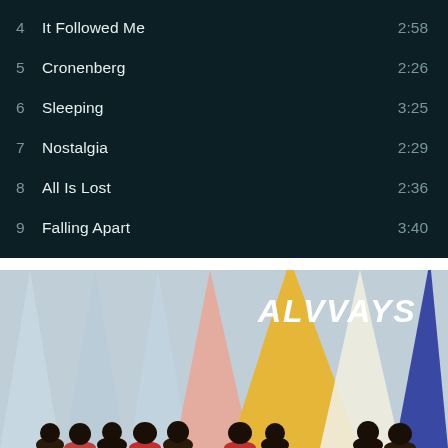| # | Title | Duration |
| --- | --- | --- |
| 4 | It Followed Me | 2:58 |
| 5 | Cronenberg | 2:26 |
| 6 | Sleeping | 3:25 |
| 7 | Nostalgia | 2:29 |
| 8 | All Is Lost | 2:36 |
| 9 | Falling Apart | 3:40 |
[Figure (illustration): Album cover for Alvvays showing colorful triangular pennant shapes (light blue, salmon/orange, yellow, white, blue/purple) against a sky blue background, with small figures of people viewed from behind in the foreground. The text 'ALVVAYS' appears in white bold italic letters in the upper right area.]